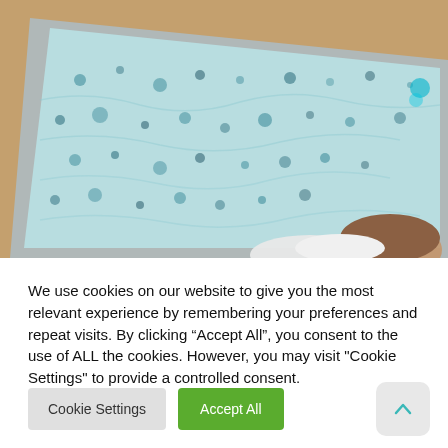[Figure (photo): Aerial/overhead photo of a large blue tray or container with bubbling liquid/cells visible (appears to be a laboratory cell culture dish or blue patterned material viewed from above), placed on a brown/tan surface. A person's head and white-gloved hands are partially visible at the bottom right corner of the image.]
We use cookies on our website to give you the most relevant experience by remembering your preferences and repeat visits. By clicking “Accept All”, you consent to the use of ALL the cookies. However, you may visit "Cookie Settings" to provide a controlled consent.